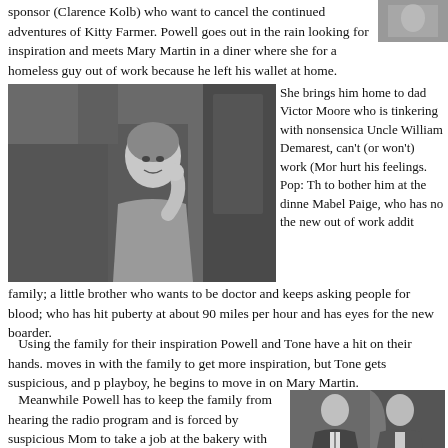sponsor (Clarence Kolb) who want to cancel the continued adventures of Kitty Farmer. Powell goes out in the rain looking for inspiration and meets Mary Martin in a diner where she for a homeless guy out of work because he left his wallet at home.
[Figure (photo): Black and white photo, partial view top right corner]
[Figure (photo): Black and white photo of a woman (appears to be a film still)]
She brings him home to dad Victor Moore who is tinkering with nonsensical Uncle William Demarest, can't (or won't) work (Mor hurt his feelings. Pop: Th to bother him at the dinne Mabel Paige, who has no the new out of work addit family; a little brother who wants to be doctor and keeps asking people for blood who has hit puberty at about 90 miles per hour and has eyes for the new boarder.
Using the family for their inspiration Powell and Tone have a hit on their hands. moves in with the family to get more inspiration, but Tone gets suspicious, and p playboy, he begins to move in on Mary Martin.
Meanwhile Powell has to keep the family from hearing the radio program and is forced by suspicious Mom to take a job at the bakery with Pop. And keeping the family from hearing the
[Figure (photo): Black and white photo of two men in formal attire]